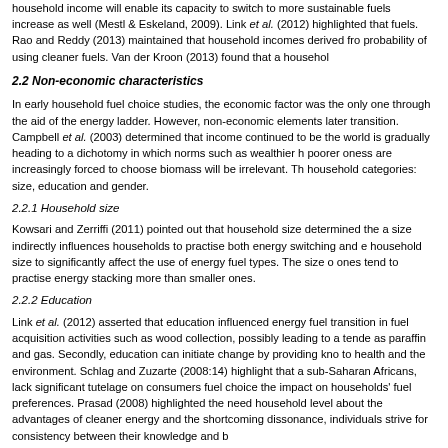household income will enable its capacity to switch to more sustainable fuels increase as well (Mestl & Eskeland, 2009). Link et al. (2012) highlighted that fuels. Rao and Reddy (2013) maintained that household incomes derived fro probability of using cleaner fuels. Van der Kroon (2013) found that a househol
2.2 Non-economic characteristics
In early household fuel choice studies, the economic factor was the only one through the aid of the energy ladder. However, non-economic elements later transition. Campbell et al. (2003) determined that income continued to be the world is gradually heading to a dichotomy in which norms such as wealthier h poorer oness are increasingly forced to choose biomass will be irrelevant. Th household categories: size, education and gender.
2.2.1 Household size
Kowsari and Zerriffi (2011) pointed out that household size determined the a size indirectly influences households to practise both energy switching and e household size to significantly affect the use of energy fuel types. The size o ones tend to practise energy stacking more than smaller ones.
2.2.2 Education
Link et al. (2012) asserted that education influenced energy fuel transition in fuel acquisition activities such as wood collection, possibly leading to a tende as paraffin and gas. Secondly, education can initiate change by providing kno to health and the environment. Schlag and Zuzarte (2008:14) highlight that a sub-Saharan Africans, lack significant tutelage on consumers fuel choice the impact on households' fuel preferences. Prasad (2008) highlighted the need household level about the advantages of cleaner energy and the shortcoming dissonance, individuals strive for consistency between their knowledge and b